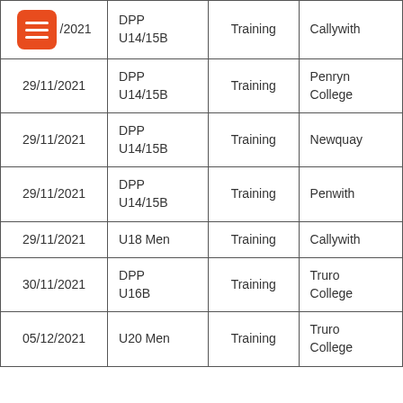| 29/11/2021 | DPP U14/15B | Training | Callywith |
| 29/11/2021 | DPP U14/15B | Training | Penryn College |
| 29/11/2021 | DPP U14/15B | Training | Newquay |
| 29/11/2021 | DPP U14/15B | Training | Penwith |
| 29/11/2021 | U18 Men | Training | Callywith |
| 30/11/2021 | DPP U16B | Training | Truro College |
| 05/12/2021 | U20 Men | Training | Truro College |